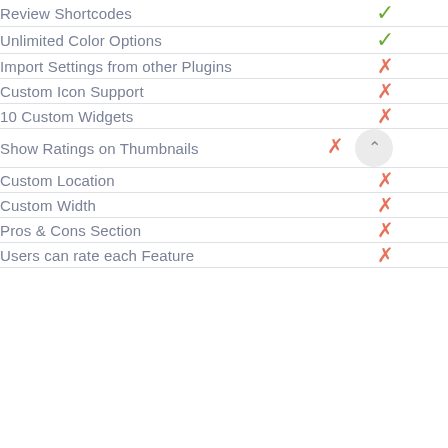| Feature | Status |
| --- | --- |
| Review Shortcodes | ✓ |
| Unlimited Color Options | ✓ |
| Import Settings from other Plugins | ✗ |
| Custom Icon Support | ✗ |
| 10 Custom Widgets | ✗ |
| Show Ratings on Thumbnails | ✗ |
| Custom Location | ✗ |
| Custom Width | ✗ |
| Pros & Cons Section | ✗ |
| Users can rate each Feature | ✗ |